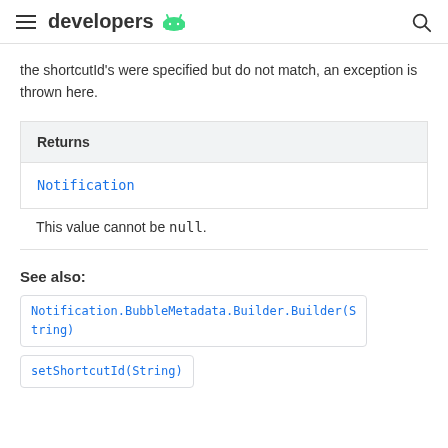developers
the shortcutId's were specified but do not match, an exception is thrown here.
| Returns |
| --- |
| Notification |
This value cannot be null.
See also:
Notification.BubbleMetadata.Builder.Builder(String)
setShortcutId(String)